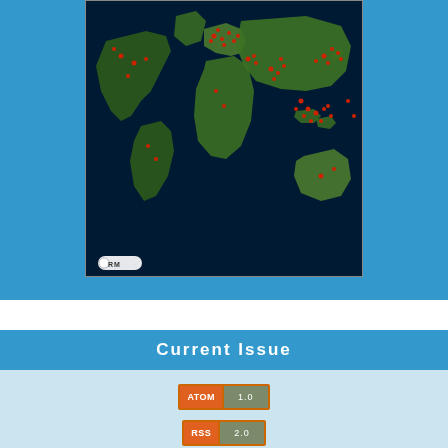[Figure (map): World map with red dot markers showing visitor/reader locations distributed globally, with RM watermark in lower left corner.]
Current Issue
[Figure (infographic): ATOM 1.0 feed badge (orange and grey)]
[Figure (infographic): RSS 2.0 feed badge (orange and grey)]
[Figure (infographic): RSS 1.0 feed badge (orange and grey)]
[Figure (logo): Creative Commons BY-SA license logo]
PPI Universitas Muhammadiyah Kalimantan Timur (UMKT)